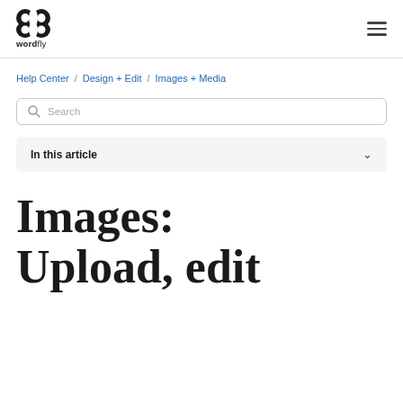wordfly
Help Center / Design + Edit / Images + Media
Search
In this article
Images: Upload, edit